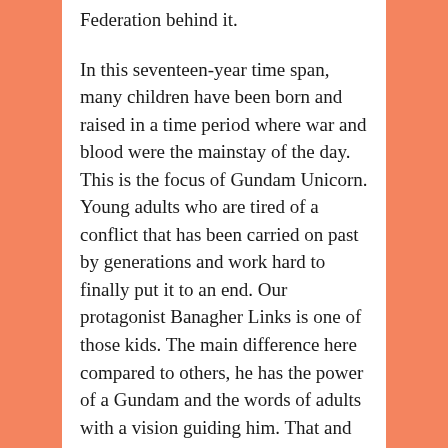Federation behind it.

In this seventeen-year time span, many children have been born and raised in a time period where war and blood were the mainstay of the day. This is the focus of Gundam Unicorn. Young adults who are tired of a conflict that has been carried on past by generations and work hard to finally put it to an end. Our protagonist Banagher Links is one of those kids. The main difference here compared to others, he has the power of a Gundam and the words of adults with a vision guiding him. That and Banagher Links is a hero that goes out of his way to save all the people that he can. Even without a Gundam, Banagher saved important people's